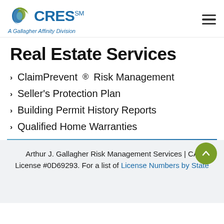CRES – A Gallagher Affinity Division
Real Estate Services
ClaimPrevent® Risk Management
Seller's Protection Plan
Building Permit History Reports
Qualified Home Warranties
Arthur J. Gallagher Risk Management Services | CA License #0D69293. For a list of License Numbers by State
License Numbers by State